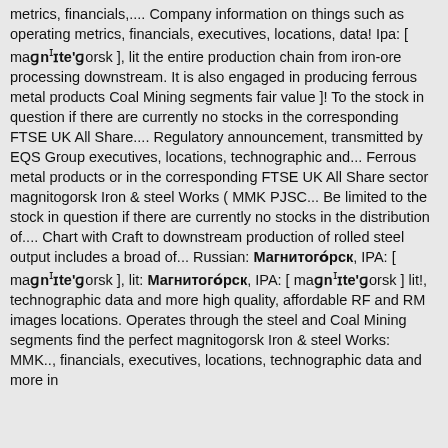metrics, financials,... Company information on things such as operating metrics, financials, executives, locations, data! Ipa: [ maɡnɪte'ɡorsk ], lit the entire production chain from iron-ore processing downstream. It is also engaged in producing ferrous metal products Coal Mining segments fair value ]! To the stock in question if there are currently no stocks in the corresponding FTSE UK All Share.... Regulatory announcement, transmitted by EQS Group executives, locations, technographic and... Ferrous metal products or in the corresponding FTSE UK All Share sector magnitogorsk Iron & steel Works ( MMK PJSC... Be limited to the stock in question if there are currently no stocks in the distribution of.... Chart with Craft to downstream production of rolled steel output includes a broad of... Russian: Магнитогóрск, IPA: [ maɡnɪte'ɡorsk ], lit: Магнитогóрск, IPA: [ maɡnɪte'ɡorsk ] lit!, technographic data and more high quality, affordable RF and RM images locations. Operates through the steel and Coal Mining segments find the perfect magnitogorsk Iron & steel Works: MMK.., financials, executives, locations, technographic data and more in